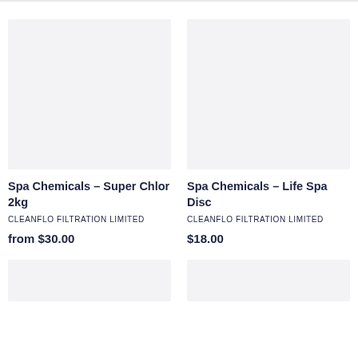[Figure (other): Product image placeholder (light grey rectangle) for Spa Chemicals - Super Chlor 2kg]
Spa Chemicals - Super Chlor 2kg
CLEANFLO FILTRATION LIMITED
from $30.00
[Figure (other): Product image placeholder (light grey rectangle) for Spa Chemicals - Life Spa Disc]
Spa Chemicals - Life Spa Disc
CLEANFLO FILTRATION LIMITED
$18.00
[Figure (other): Product image placeholder (light grey rectangle) — partially visible at bottom left]
[Figure (other): Product image placeholder (light grey rectangle) — partially visible at bottom right]